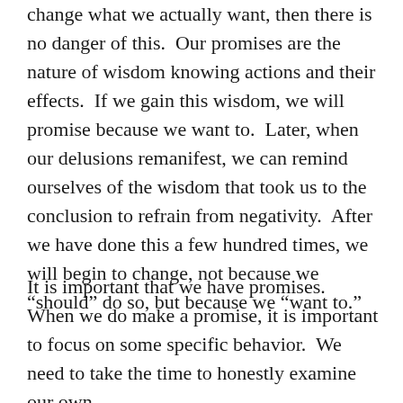change what we actually want, then there is no danger of this.  Our promises are the nature of wisdom knowing actions and their effects.  If we gain this wisdom, we will promise because we want to.  Later, when our delusions remanifest, we can remind ourselves of the wisdom that took us to the conclusion to refrain from negativity.  After we have done this a few hundred times, we will begin to change, not because we “should” do so, but because we “want to.”
It is important that we have promises.  When we do make a promise, it is important to focus on some specific behavior.  We need to take the time to honestly examine our own